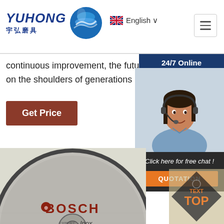[Figure (logo): YUHONG 宇弘磨具 logo with blue wave/globe graphic]
English
continuous improvement, the future of steam stands on the shoulders of generations of …
Get Price
24/7 Online
[Figure (photo): Female customer service agent wearing a headset, smiling]
Click here for free chat !
QUOTATION
[Figure (photo): Bosch cutting disc - EXPERT for Inox, fast CUT, Rapido label visible]